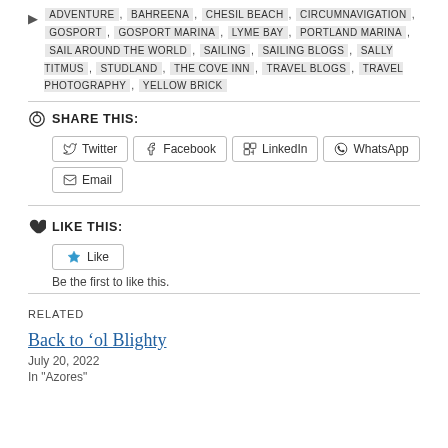ADVENTURE, BAHREENA, CHESIL BEACH, CIRCUMNAVIGATION, GOSPORT, GOSPORT MARINA, LYME BAY, PORTLAND MARINA, SAIL AROUND THE WORLD, SAILING, SAILING BLOGS, SALLY TITMUS, STUDLAND, THE COVE INN, TRAVEL BLOGS, TRAVEL PHOTOGRAPHY, YELLOW BRICK
SHARE THIS:
Twitter
Facebook
LinkedIn
WhatsApp
Email
LIKE THIS:
Like
Be the first to like this.
RELATED
Back to ‘ol Blighty
July 20, 2022
In "Azores"